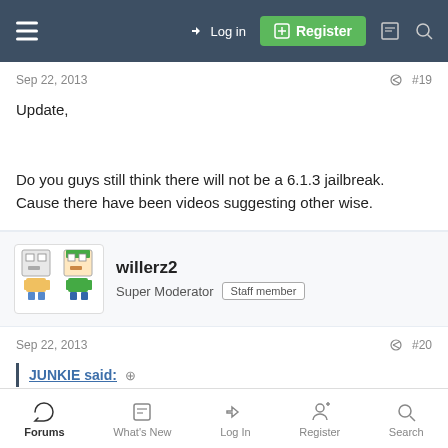Login | Register
Sep 22, 2013  #19
Update,

Do you guys still think there will not be a 6.1.3 jailbreak. Cause there have been videos suggesting other wise.
[Figure (illustration): User avatar for willerz2 showing pixel art characters]
willerz2
Super Moderator  Staff member
Sep 22, 2013  #20
JUNKIE said:
Forums  What's New  Log In  Register  Search